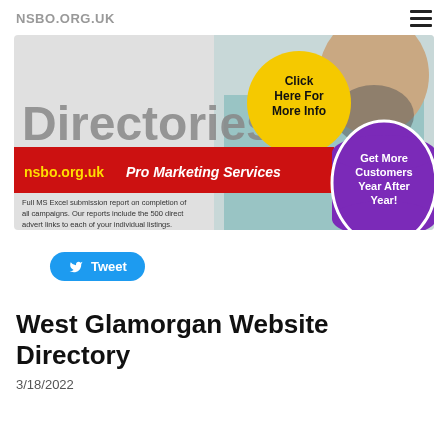NSBO.ORG.UK
[Figure (infographic): Promotional banner ad for nsbo.org.uk Pro Marketing Services. Features a man in a floral shirt, large grey text 'Directories', a yellow circle with 'Click Here For More Info', a red bar reading 'nsbo.org.uk Pro Marketing Services', a purple oval with 'Get More Customers Year After Year!', and small text about MS Excel submission reports.]
Tweet
West Glamorgan Website Directory
3/18/2022